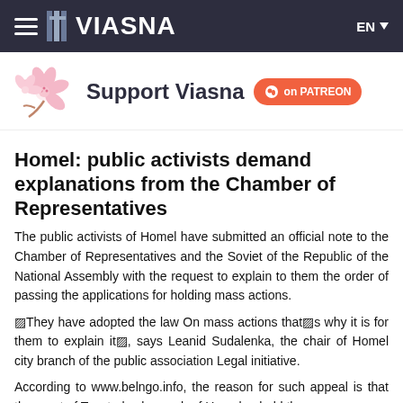VIASNA  EN
[Figure (illustration): Cherry blossom flower illustration used in Support Viasna banner]
Support Viasna on PATREON
Homel: public activists demand explanations from the Chamber of Representatives
The public activists of Homel have submitted an official note to the Chamber of Representatives and the Soviet of the Republic of the National Assembly with the request to explain to them the order of passing the applications for holding mass actions.
“They have adopted the law On mass actions that’s why it is for them to explain it”, says Leanid Sudalenka, the chair of Homel city branch of the public association Legal initiative.
According to www.belngo.info, the reason for such appeal is that the court of Tsentralny borough of Homel upheld the